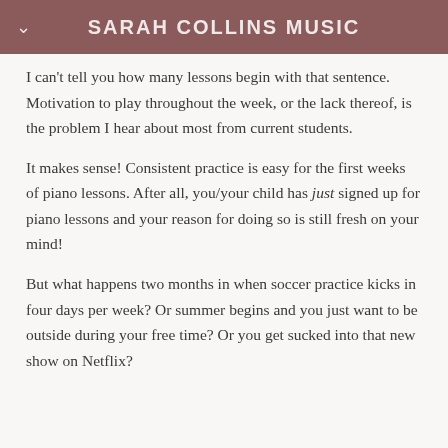SARAH COLLINS MUSIC
I can't tell you how many lessons begin with that sentence. Motivation to play throughout the week, or the lack thereof, is the problem I hear about most from current students.
It makes sense! Consistent practice is easy for the first weeks of piano lessons. After all, you/your child has just signed up for piano lessons and your reason for doing so is still fresh on your mind!
But what happens two months in when soccer practice kicks in four days per week? Or summer begins and you just want to be outside during your free time? Or you get sucked into that new show on Netflix?